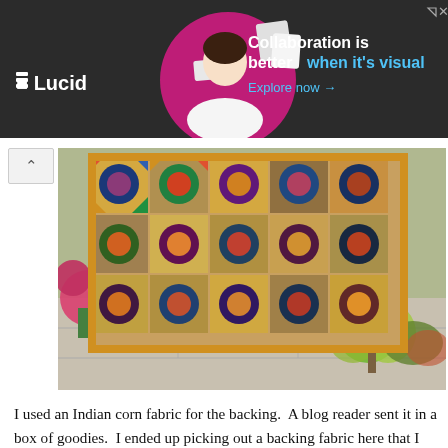[Figure (photo): Lucid advertisement banner with dark background, woman working, and text 'Collaboration is better when it's visual. Explore now →']
[Figure (photo): A colorful patchwork quilt with sunflower-style medallion blocks in rich jewel tones, hung outdoors against a building with flowers and garden plants visible.]
I used an Indian corn fabric for the backing.  A blog reader sent it in a box of goodies.  I ended up picking out a backing fabric here that I had, put it in the box I'll send out for charity, and kept this backing fabric instead.  It seemed perfect for